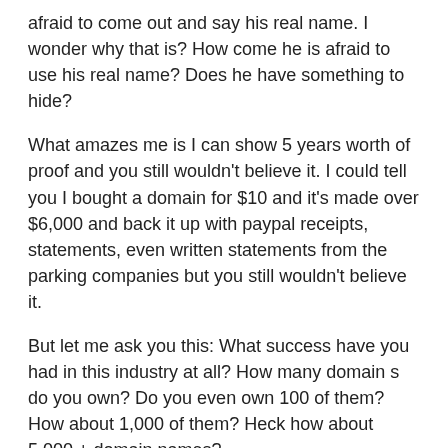afraid to come out and say his real name. I wonder why that is? How come he is afraid to use his real name? Does he have something to hide?
What amazes me is I can show 5 years worth of proof and you still wouldn't believe it. I could tell you I bought a domain for $10 and it's made over $6,000 and back it up with paypal receipts, statements, even written statements from the parking companies but you still wouldn't believe it.
But let me ask you this: What success have you had in this industry at all? How many domain s do you own? Do you even own 100 of them? How about 1,000 of them? Heck how about 5,000 + domain names?
how much money have you made off it? Have you made over $100 bucks a month, $1,000 a month or